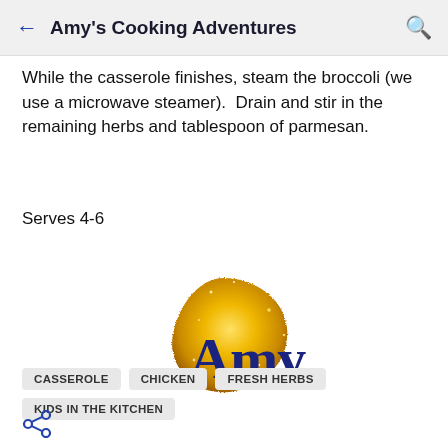Amy's Cooking Adventures
While the casserole finishes, steam the broccoli (we use a microwave steamer).  Drain and stir in the remaining herbs and tablespoon of parmesan.
Serves 4-6
[Figure (logo): Amy's Cooking Adventures logo: gold glitter blob shape with dark navy blue 'Amy' text overlaid in a serif font]
CASSEROLE
CHICKEN
FRESH HERBS
KIDS IN THE KITCHEN